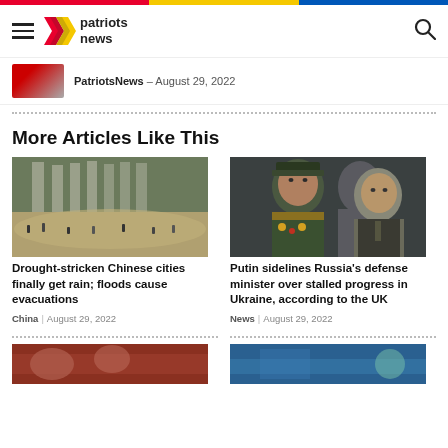patriots news
PatriotsNews – August 29, 2022
More Articles Like This
[Figure (photo): Drought-stricken area with people, dry riverbed and concrete dam structure in background]
Drought-stricken Chinese cities finally get rain; floods cause evacuations
China | August 29, 2022
[Figure (photo): Putin and Russia's defense minister in military uniform with medals]
Putin sidelines Russia's defense minister over stalled progress in Ukraine, according to the UK
News | August 29, 2022
[Figure (photo): Bottom-left article preview image]
[Figure (photo): Bottom-right article preview image]